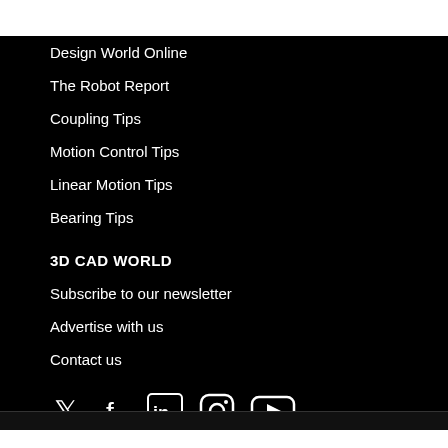Design World Online
The Robot Report
Coupling Tips
Motion Control Tips
Linear Motion Tips
Bearing Tips
3D CAD WORLD
Subscribe to our newsletter
Advertise with us
Contact us
[Figure (other): Social media icons: Twitter, Facebook, LinkedIn, Instagram, YouTube]